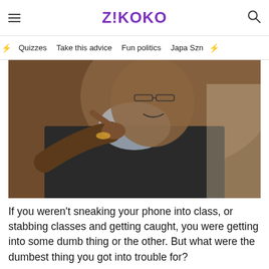Z!KOKO
Quizzes  Take this advice  Fun politics  Japa Szn
[Figure (photo): A man in a dark suit pointing at the camera and smiling, wearing glasses and a gold bracelet, seated in a chair]
If you weren't sneaking your phone into class, or stabbing classes and getting caught, you were getting into some dumb thing or the other. But what were the dumbest thing you got into trouble for?
[Figure (photo): Partial photo of a person, with a close button (x) overlay in the upper right area]